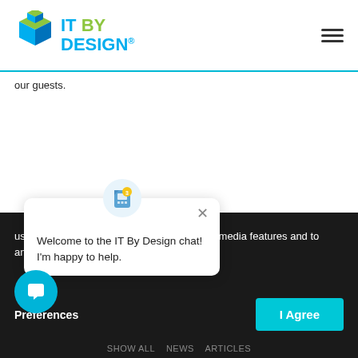IT BY DESIGN®
our guests.
[Figure (screenshot): Chat popup widget: icon of a 3D SIM card character, close button (×), text 'Welcome to the IT By Design chat! I'm happy to help.']
uses cookies. We use ads, to provide social media features and to analyze our traffic. View our privacy
Preferences
I Agree
SHOW ALL   NEWS   ARTICLES